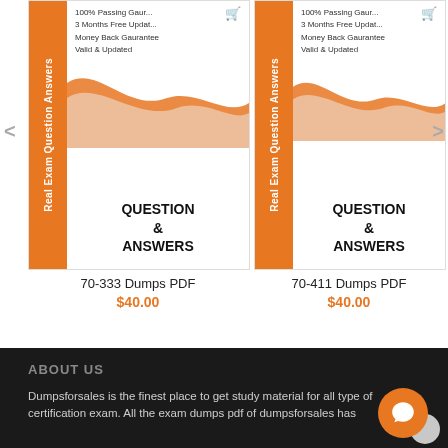[Figure (screenshot): Product card for 70-333 Dumps PDF with orange banner reading 'Real Exam Question Answers', wave decoration, and QUESTION & ANSWERS text]
70-333 Dumps PDF
$40.00
[Figure (screenshot): Product card for 70-411 Dumps PDF with orange banner reading 'Real Exam Question Answers', wave decoration, and QUESTION & ANSWERS text]
70-411 Dumps PDF
$40.00
ABOUT US
Dumpsforsales is the finest place to get study material for all type of certification exam. All the exam dumps pdf of dumpsforsales has